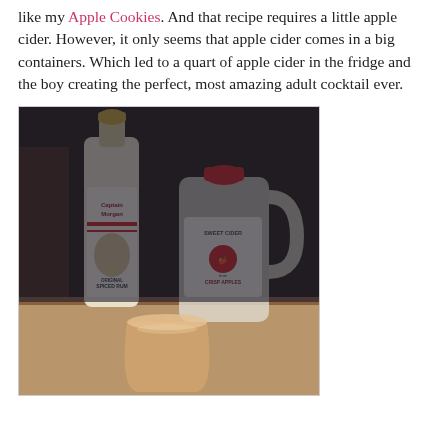like my Apple Cookies. And that recipe requires a little apple cider. However, it only seems that apple cider comes in a big containers. Which led to a quart of apple cider in the fridge and the boy creating the perfect, most amazing adult cocktail ever.
[Figure (photo): Photo of a Captain Morgan Original Spiced Rum bottle and a jug of Sweet Cider (from fresh crisp apples) with a glass of mixed drink in front, placed on a wooden table.]